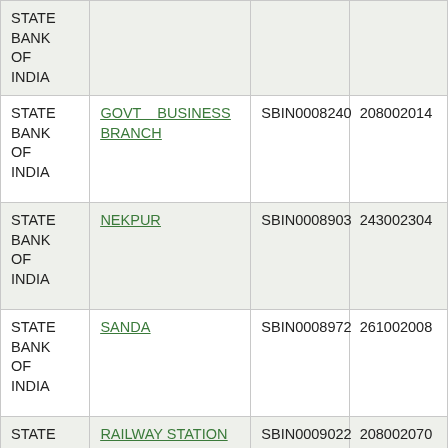| Bank | Branch | IFSC | MICR |
| --- | --- | --- | --- |
| STATE BANK OF INDIA |  |  |  |
| STATE BANK OF INDIA | GOVT BUSINESS BRANCH | SBIN0008240 | 208002014 |
| STATE BANK OF INDIA | NEKPUR | SBIN0008903 | 243002304 |
| STATE BANK OF INDIA | SANDA | SBIN0008972 | 261002008 |
| STATE BANK OF INDIA | RAILWAY STATION | SBIN0009022 | 208002070 |